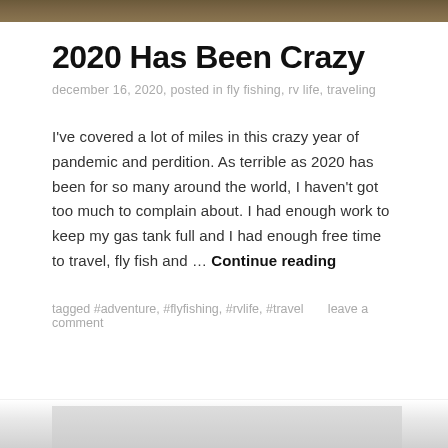[Figure (photo): Top banner image — outdoor/nature scene, brownish tones]
2020 Has Been Crazy
december 16, 2020, posted in fly fishing, rv life, traveling
I've covered a lot of miles in this crazy year of pandemic and perdition. As terrible as 2020 has been for so many around the world, I haven't got too much to complain about. I had enough work to keep my gas tank full and I had enough free time to travel, fly fish and … Continue reading
tagged #adventure, #flyfishing, #rvlife, #travel      leave a comment
[Figure (photo): Bottom partial image — light gray/sky tones, partially visible]